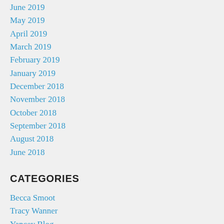June 2019
May 2019
April 2019
March 2019
February 2019
January 2019
December 2018
November 2018
October 2018
September 2018
August 2018
June 2018
CATEGORIES
Becca Smoot
Tracy Wanner
Yancey Blog